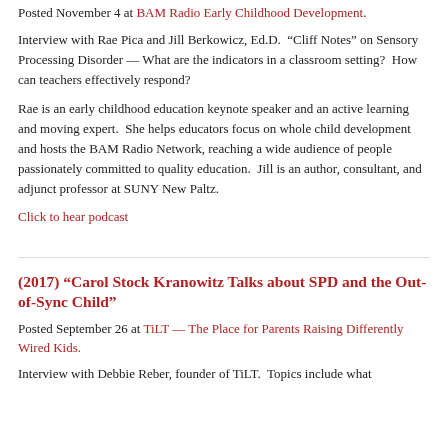Posted November 4 at BAM Radio Early Childhood Development.
Interview with Rae Pica and Jill Berkowicz, Ed.D.  "Cliff Notes" on Sensory Processing Disorder — What are the indicators in a classroom setting?  How can teachers effectively respond?
Rae is an early childhood education keynote speaker and an active learning and moving expert.  She helps educators focus on whole child development and hosts the BAM Radio Network, reaching a wide audience of people passionately committed to quality education.  Jill is an author, consultant, and adjunct professor at SUNY New Paltz.
Click to hear podcast
(2017) “Carol Stock Kranowitz Talks about SPD and the Out-of-Sync Child”
Posted September 26 at TiLT — The Place for Parents Raising Differently Wired Kids.
Interview with Debbie Reber, founder of TiLT.  Topics include what